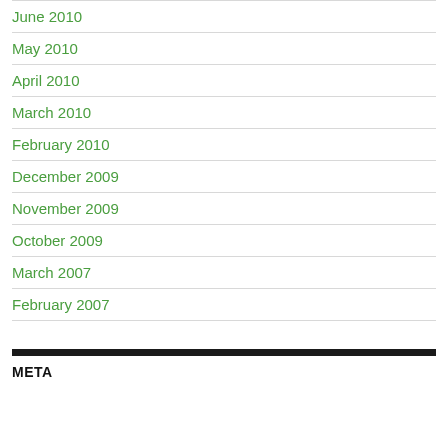June 2010
May 2010
April 2010
March 2010
February 2010
December 2009
November 2009
October 2009
March 2007
February 2007
META